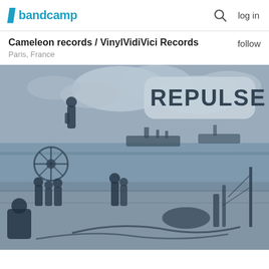bandcamp  log in
Cameleon records / VinylVidiVici Records
Paris, France
follow
[Figure (illustration): Vintage black and white illustration of sailors on a ship deck at sea, with the word REPULSE displayed in cloud-like letters. Multiple sailors in various poses, naval scene with ships in the background.]